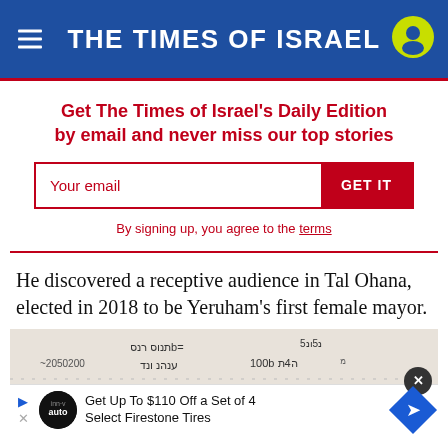THE TIMES OF ISRAEL
Get The Times of Israel's Daily Edition by email and never miss our top stories
By signing up, you agree to the terms
He discovered a receptive audience in Tal Ohana, elected in 2018 to be Yeruham’s first female mayor.
[Figure (photo): Whiteboard with handwritten Hebrew text, partially visible]
Get Up To $110 Off a Set of 4 Select Firestone Tires